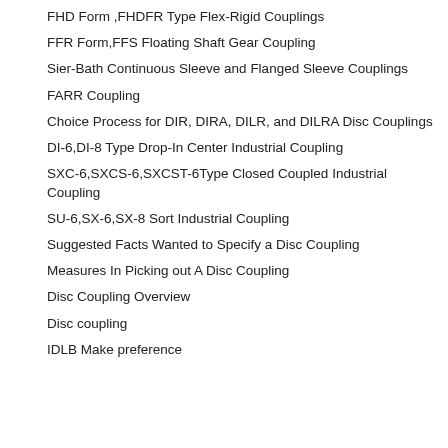FHD Form ,FHDFR Type Flex-Rigid Couplings
FFR Form,FFS Floating Shaft Gear Coupling
Sier-Bath Continuous Sleeve and Flanged Sleeve Couplings
FARR Coupling
Choice Process for DIR, DIRA, DILR, and DILRA Disc Couplings
DI-6,DI-8 Type Drop-In Center Industrial Coupling
SXC-6,SXCS-6,SXCST-6Type Closed Coupled Industrial Coupling
SU-6,SX-6,SX-8 Sort Industrial Coupling
Suggested Facts Wanted to Specify a Disc Coupling
Measures In Picking out A Disc Coupling
Disc Coupling Overview
Disc coupling
IDLB Make preference